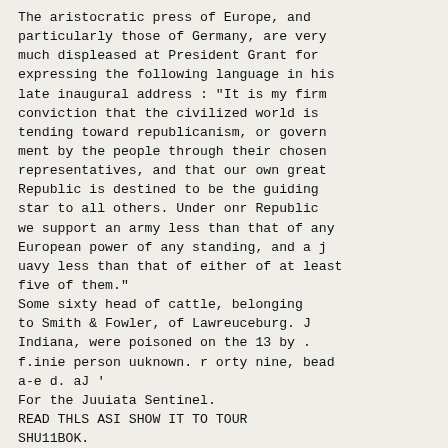The aristocratic press of Europe, and particularly those of Germany, are very much displeased at President Grant for expressing the following language in his late inaugural address : "It is my firm conviction that the civilized world is tending toward republicanism, or govern ment by the people through their chosen representatives, and that our own great Republic is destined to be the guiding star to all others. Under onr Republic we support an army less than that of any European power of any standing, and a j uavy less than that of either of at least five of them."
Some sixty head of cattle, belonging to Smith & Fowler, of Lawreuceburg. J Indiana, were poisoned on the 13 by . f.inie person uuknown. r orty nine, bead a-e d. aJ '
For the Juuiata Sentinel.
READ THLS ASI SHOW IT TO TOUR SHU11BOK.
BT CSV. D. M. BLACKWKLDEB.
Tlio great preacher has truly said